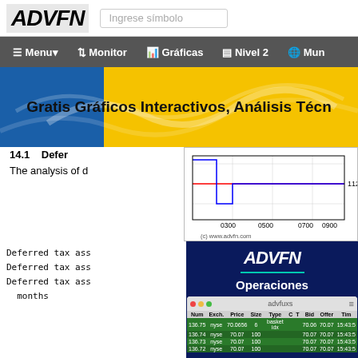[Figure (logo): ADVFN logo in italic bold with search input box 'Ingrese símbolo']
Menu ▾   Monitor   Gráficas   Nivel 2   Mun
[Figure (screenshot): ADVFN banner: Gratis Gráficos Interactivos, Análisis Técn... with blue and golden wave background]
14.1    Defer
The analysis of d
[Figure (line-chart): Small intraday price chart with blue and red lines, x-axis labels 0300, 0500, 0700, 0900, y-axis label 112, copyright (c) www.advfn.com]
Deferred tax ass
Deferred tax ass
Deferred tax ass
  months
[Figure (screenshot): ADVFN Operaciones advertisement panel with dark blue background, ADVFN logo, teal underline, 'Operaciones' text, and trading table screenshot showing columns Num, Exch., Price, Size, Type, C, T, Bid, Offer, Tim with three green rows for NYSE trades at 70.07]